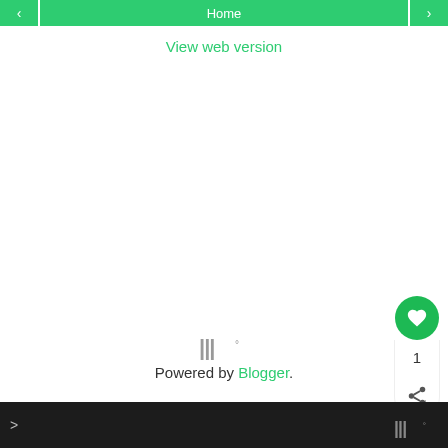< Home >
View web version
[Figure (logo): Mediavine logo mark (stylized W with degree symbol) in gray]
Powered by Blogger.
Exclusive Member of Mediavine Food
> [Mediavine logo]